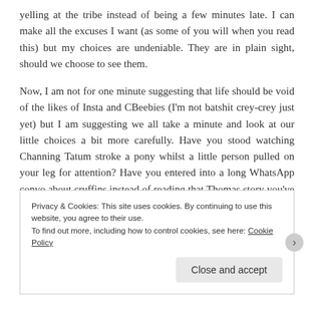yelling at the tribe instead of being a few minutes late. I can make all the excuses I want (as some of you will when you read this) but my choices are undeniable. They are in plain sight, should we choose to see them.
Now, I am not for one minute suggesting that life should be void of the likes of Insta and CBeebies (I'm not batshit crey-crey just yet) but I am suggesting we all take a minute and look at our little choices a bit more carefully. Have you stood watching Channing Tatum stroke a pony whilst a little person pulled on your leg for attention? Have you entered into a long WhatsApp convo about cruffins instead of reading that Thomas story you've promised them since you
Privacy & Cookies: This site uses cookies. By continuing to use this website, you agree to their use.
To find out more, including how to control cookies, see here: Cookie Policy